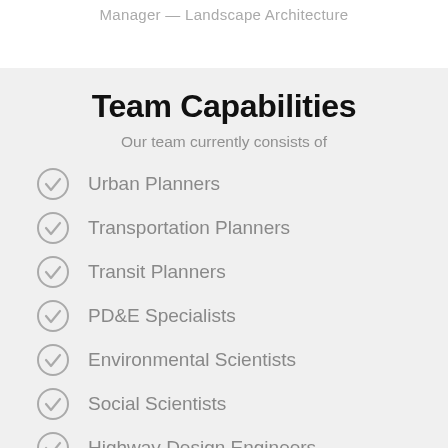Manager — Landscape Architecture
Team Capabilities
Our team currently consists of
Urban Planners
Transportation Planners
Transit Planners
PD&E Specialists
Environmental Scientists
Social Scientists
Highway Design Engineers